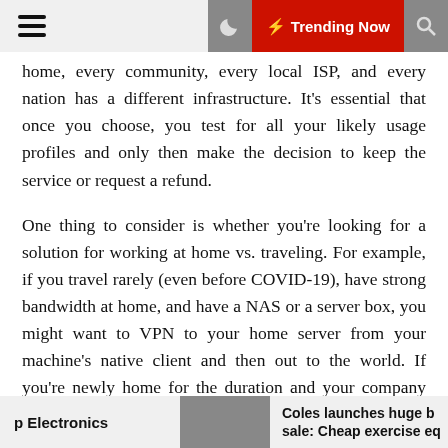Trending Now
home, every community, every local ISP, and every nation has a different infrastructure. It's essential that once you choose, you test for all your likely usage profiles and only then make the decision to keep the service or request a refund.
One thing to consider is whether you're looking for a solution for working at home vs. traveling. For example, if you travel rarely (even before COVID-19), have strong bandwidth at home, and have a NAS or a server box, you might want to VPN to your home server from your machine's native client and then out to the world. If you're newly home for the duration and your company has a dedicated VPN, you'll want to use whatever process they've set out for you.
Also:
p Electronics   Coles launches huge b sale: Cheap exercise eq